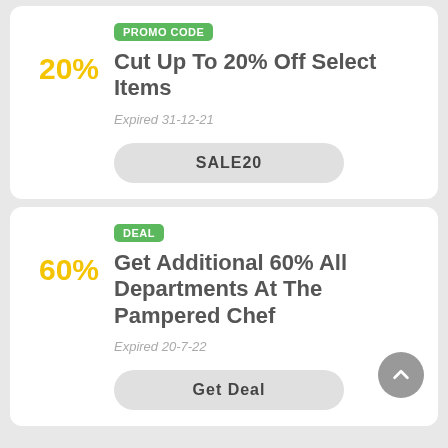PROMO CODE
Cut Up To 20% Off Select Items
Expired 31-12-21
SALE20
DEAL
Get Additional 60% All Departments At The Pampered Chef
Expired 20-7-22
Get Deal